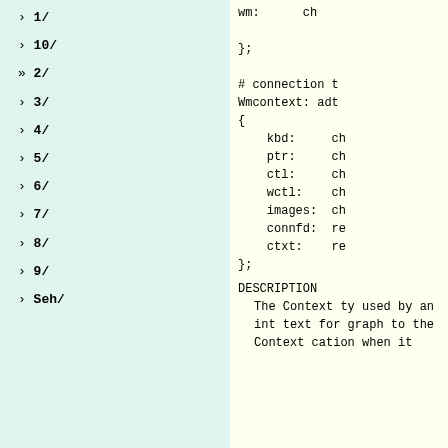› 1/
› 10/
» 2/
› 3/
› 4/
› 5/
› 6/
› 7/
› 8/
› 9/
› Seh/
wm:      ch
};

# connection t
Wmcontext: adt
{
    kbd:     ch
    ptr:     ch
    ctl:     ch
    wctl:    ch
    images:  ch
    connfd:  re
    ctxt:    re
};
DESCRIPTION
The Context ty
used by an int
text for graph
to the Context
cation when it